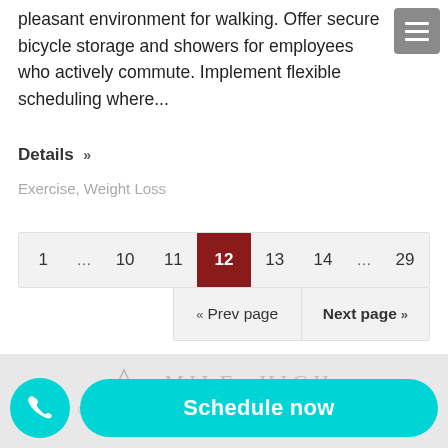pleasant environment for walking. Offer secure bicycle storage and showers for employees who actively commute. Implement flexible scheduling where...
Details >>
Exercise, Weight Loss
[Figure (other): Pagination bar showing pages 1, ..., 10, 11, 12 (active/selected in dark red), 13, 14, ..., 29 with Prev page and Next page navigation buttons below]
[Figure (logo): Mile High Fitness & Wellness logo with mountain silhouette in gray]
[Figure (other): Phone call button (teal circle with phone icon) and Schedule now button (teal pill shape)]